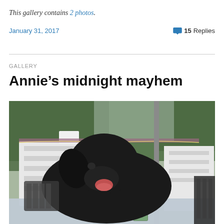This gallery contains 2 photos.
January 31, 2017   💬 15 Replies
GALLERY
Annie's midnight mayhem
[Figure (photo): A large black dog lying on a table on an outdoor patio, licking its lips, with a silver ornament ball and a glass with a green candle on the table. White fence and trees visible in the background.]